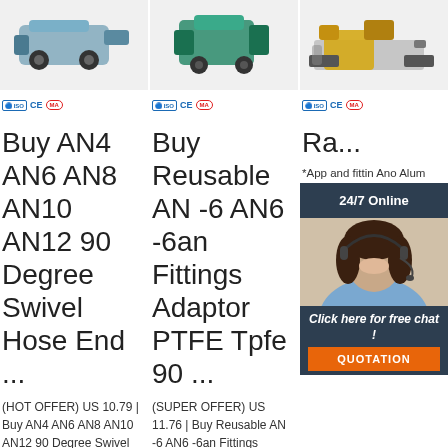[Figure (photo): Product photo of industrial pump/motor device, column 1]
[Figure (logo): Certification logos: ISO, CE, MA — column 1]
Buy AN4 AN6 AN8 AN10 AN12 90 Degree Swivel Hose End ...
(HOT OFFER) US 10.79 | Buy AN4 AN6 AN8 AN10 AN12 90 Degree Swivel Hose ...
[Figure (photo): Product photo of green industrial machine, column 2]
[Figure (logo): Certification logos: ISO, CE, MA — column 2]
Buy Reusable AN -6 AN6 -6an Fittings Adaptor PTFE Tpfe 90 ...
(SUPER OFFER) US 11.76 | Buy Reusable AN -6 AN6 -6an Fittings Adaptor PTFE ...
[Figure (photo): Product photo of yellow mini excavator, column 3]
[Figure (logo): Certification logos: ISO, CE, MA — column 3]
Ra...
*App and fittin Ano Alum Comp comp made grade 6061-T6 aluminum and MilSpec Type III hard anodized for extreme durability and corrosion
[Figure (infographic): 24/7 Online chat popup with agent photo, free chat button, and QUOTATION button]